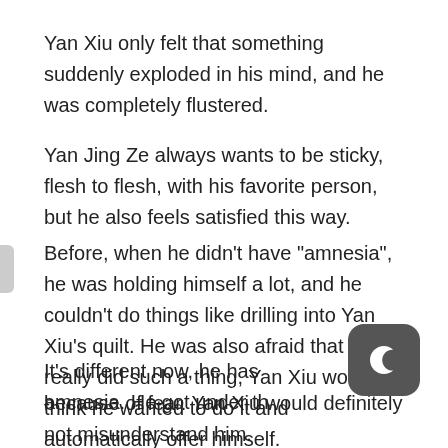Yan Xiu only felt that something suddenly exploded in his mind, and he was completely flustered.
Yan Jing Ze always wants to be sticky, flesh to flesh, with his favorite person, but he also feels satisfied this way.
Before, when he didn't have “amnesia”, he was holding himself a lot, and he couldn't do things like drilling into Yan Xiu's quilt. He was also afraid that if he really did such a thing, Yan Xiu would think he wanted to do it and automatically offer himself.
It’s different now, he has amnesia. He got under th[e quil]t because of fear. Yan Xiu would definitely not misunderstand him.